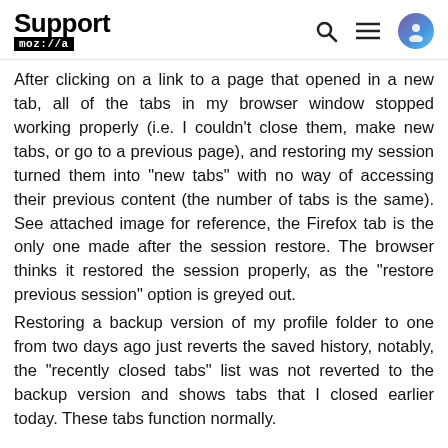Support mozilla://a
After clicking on a link to a page that opened in a new tab, all of the tabs in my browser window stopped working properly (i.e. I couldn't close them, make new tabs, or go to a previous page), and restoring my session turned them into "new tabs" with no way of accessing their previous content (the number of tabs is the same). See attached image for reference, the Firefox tab is the only one made after the session restore. The browser thinks it restored the session properly, as the "restore previous session" option is greyed out.
Restoring a backup version of my profile folder to one from two days ago just reverts the saved history, notably, the "recently closed tabs" list was not reverted to the backup version and shows tabs that I closed earlier today. These tabs function normally.